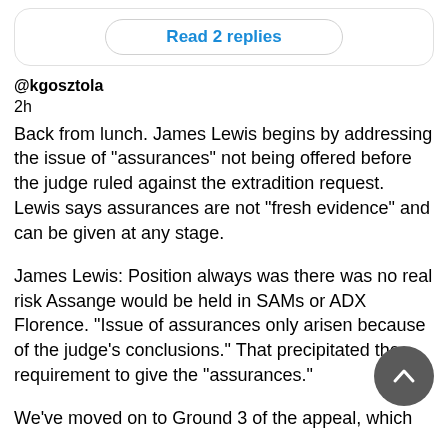[Figure (screenshot): Read 2 replies button within a rounded card UI element]
@kgosztola
2h
Back from lunch. James Lewis begins by addressing the issue of "assurances" not being offered before the judge ruled against the extradition request. Lewis says assurances are not "fresh evidence" and can be given at any stage.
James Lewis: Position always was there was no real risk Assange would be held in SAMs or ADX Florence. "Issue of assurances only arisen because of the judge's conclusions." That precipitated the requirement to give the "assurances."
We've moved on to Ground 3 of the appeal, which